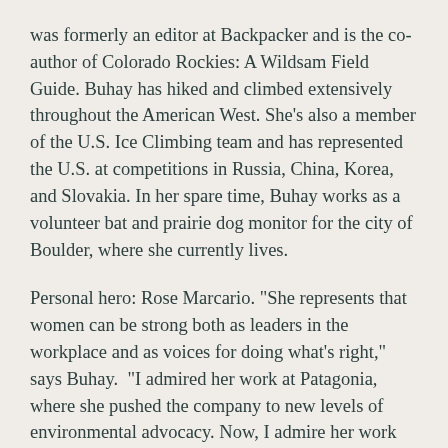was formerly an editor at Backpacker and is the co-author of Colorado Rockies: A Wildsam Field Guide. Buhay has hiked and climbed extensively throughout the American West. She's also a member of the U.S. Ice Climbing team and has represented the U.S. at competitions in Russia, China, Korea, and Slovakia. In her spare time, Buhay works as a volunteer bat and prairie dog monitor for the city of Boulder, where she currently lives.
Personal hero: Rose Marcario. "She represents that women can be strong both as leaders in the workplace and as voices for doing what's right," says Buhay.  "I admired her work at Patagonia, where she pushed the company to new levels of environmental advocacy. Now, I admire her work helping steer other environmental startups to help build a sustainable future."
Women's History Month: Buhay is reporting on two women. First, she's writing about Sarah Brown, the assistant manager of experience at the Public